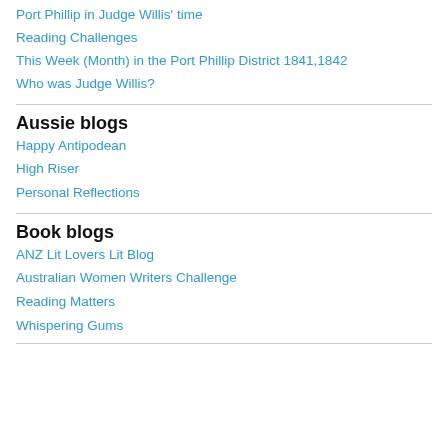Port Phillip in Judge Willis' time
Reading Challenges
This Week (Month) in the Port Phillip District 1841,1842
Who was Judge Willis?
Aussie blogs
Happy Antipodean
High Riser
Personal Reflections
Book blogs
ANZ Lit Lovers Lit Blog
Australian Women Writers Challenge
Reading Matters
Whispering Gums